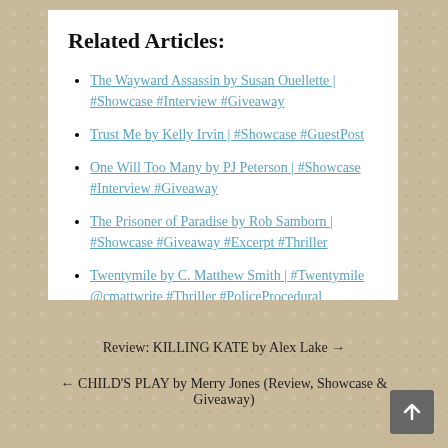Related Articles:
The Wayward Assassin by Susan Ouellette | #Showcase #Interview #Giveaway
Trust Me by Kelly Irvin | #Showcase #GuestPost
One Will Too Many by PJ Peterson | #Showcase #Interview #Giveaway
The Prisoner of Paradise by Rob Samborn | #Showcase #Giveaway #Excerpt #Thriller
Twentymile by C. Matthew Smith | #Twentymile @cmattwrite #Thriller #PoliceProcedural #Interview #Showcase
Review: KILLING KATE by Alex Lake →
← CHILD'S PLAY by Merry Jones (Review, Showcase & Giveaway)